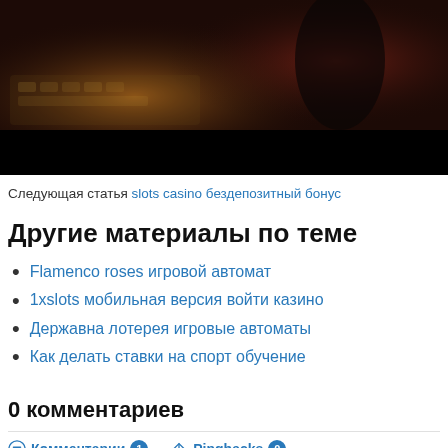[Figure (photo): Dark photo showing a keyboard/mixing board area with orange and red lighting, person visible in dark background]
Следующая статья slots casino бездепозитный бонус
Другие материалы по теме
Flamenco roses игровой автомат
1xslots мобильная версия войти казино
Державна лотерея игровые автоматы
Как делать ставки на спорт обучение
0 комментариев
Комментарии 1   Pingbacks 0